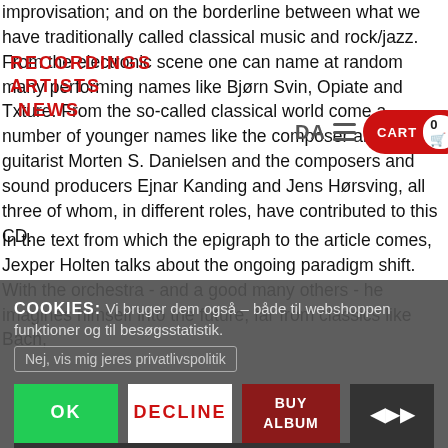improvisation; and on the borderline between what we have traditionally called classical music and rock/jazz. From the electronic scene one can name at random many performing names like Bjørn Svin, Opiate and Txture. From the so-called classical world come a number of younger names like the composer and guitarist Morten S. Danielsen and the composers and sound producers Ejnar Kanding and Jens Hørsving, all three of whom, in different roles, have contributed to this CD.
RECORDINGS ARTISTS DA ☰ CART 0 NEWS
In the text from which the epigraph to the article comes, Jexper Holten talks about the ongoing paradigm shift. With the orchestra - and a good many others - he imagines himself into the future, far from classics like Bach,
COOKIES: Vi bruger dem også – både til webshoppen funktioner og til besøgsstatistik.
Nej, vis mig jeres privatlivspolitik
OK
DECLINE
BUY ALBUM